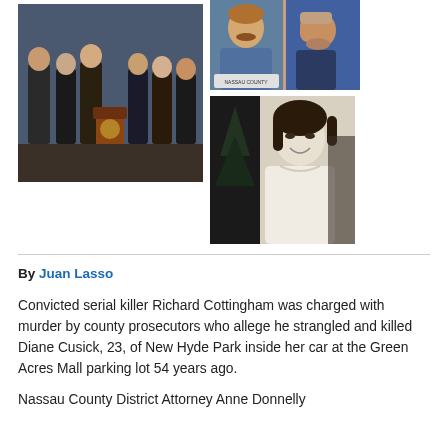[Figure (photo): Press conference photo showing several people standing at a podium with blue background]
[Figure (photo): Two mugshot-style photos of Richard Cottingham — front and side profile]
[Figure (photo): Black and white photo of Diane Cusick, a young woman smiling]
By Juan Lasso
Convicted serial killer Richard Cottingham was charged with murder by county prosecutors who allege he strangled and killed Diane Cusick, 23, of New Hyde Park inside her car at the Green Acres Mall parking lot 54 years ago.
Nassau County District Attorney Anne Donnelly